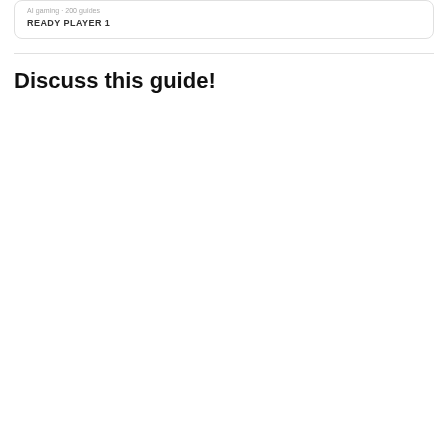AI gaming · 200 guides
READY PLAYER 1
Discuss this guide!